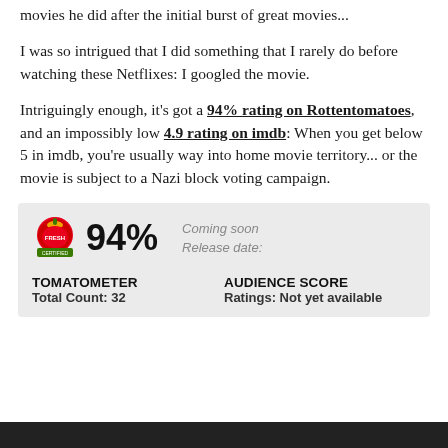movies he did after the initial burst of great movies...
I was so intrigued that I did something that I rarely do before watching these Netflixes: I googled the movie.
Intriguingly enough, it's got a 94% rating on Rottentomatoes, and an impossibly low 4.9 rating on imdb: When you get below 5 in imdb, you're usually way into home movie territory... or the movie is subject to a Nazi block voting campaign.
[Figure (screenshot): Rotten Tomatoes rating widget showing 94% Tomatometer with Fresh badge logo, Coming soon / Release date: text, Total Count: 32, Audience Score Ratings: Not yet available]